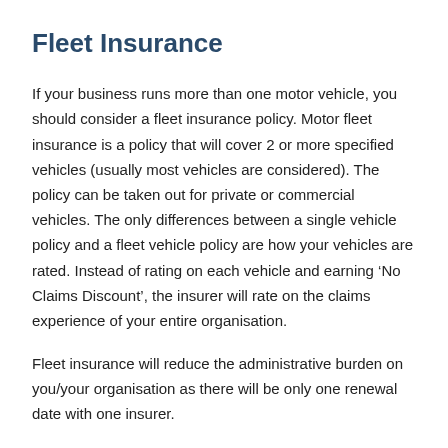Fleet Insurance
If your business runs more than one motor vehicle, you should consider a fleet insurance policy. Motor fleet insurance is a policy that will cover 2 or more specified vehicles (usually most vehicles are considered). The policy can be taken out for private or commercial vehicles. The only differences between a single vehicle policy and a fleet vehicle policy are how your vehicles are rated. Instead of rating on each vehicle and earning ‘No Claims Discount’, the insurer will rate on the claims experience of your entire organisation.
Fleet insurance will reduce the administrative burden on you/your organisation as there will be only one renewal date with one insurer.